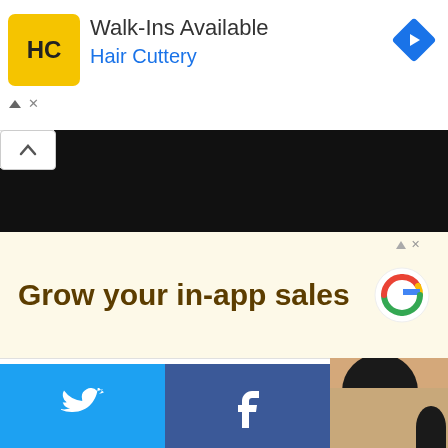[Figure (screenshot): Hair Cuttery advertisement banner with HC logo, 'Walk-Ins Available' text, 'Hair Cuttery' brand name in blue, and a navigation arrow icon on right]
[Figure (screenshot): Google advertisement with cream background showing 'Grow your in-app sales' text in brown/gold and Google G logo on right]
[Figure (screenshot): Social sharing buttons grid showing Twitter (blue bird), Facebook (blue f), Email (gray envelope), WhatsApp (green phone), SMS (blue), and share/other (green) icons, with a person's photo partially visible on right]